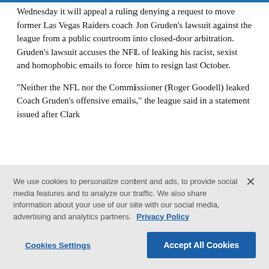Wednesday it will appeal a ruling denying a request to move former Las Vegas Raiders coach Jon Gruden’s lawsuit against the league from a public courtroom into closed-door arbitration. Gruden’s lawsuit accuses the NFL of leaking his racist, sexist and homophobic emails to force him to resign last October.
“Neither the NFL nor the Commissioner (Roger Goodell) leaked Coach Gruden’s offensive emails,” the league said in a statement issued after Clark
We use cookies to personalize content and ads, to provide social media features and to analyze our traffic. We also share information about your use of our site with our social media, advertising and analytics partners. Privacy Policy